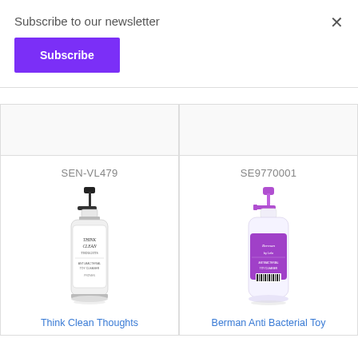Subscribe to our newsletter
Subscribe
×
SEN-VL479
[Figure (photo): Think Clean Thoughts toy cleaner spray bottle with black pump top, clear bottle with black and white label]
Think Clean Thoughts
SE9770001
[Figure (photo): Berman Anti Bacterial Toy cleaner spray bottle with purple pump top, clear bottle with purple label]
Berman Anti Bacterial Toy